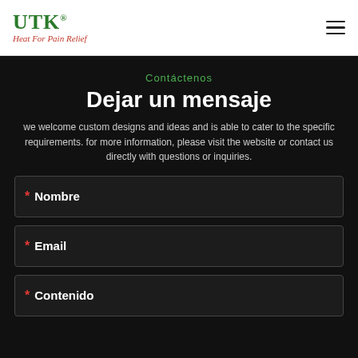[Figure (logo): UTK logo with tagline 'Heat For Pain Relief' in green and red]
Contáctenos
Dejar un mensaje
we welcome custom designs and ideas and is able to cater to the specific requirements. for more information, please visit the website or contact us directly with questions or inquiries.
* Nombre
* Email
* Contenido